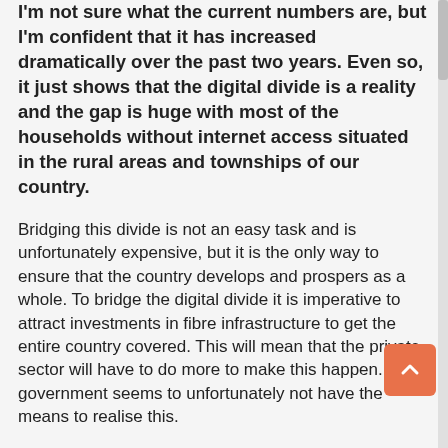I'm not sure what the current numbers are, but I'm confident that it has increased dramatically over the past two years. Even so, it just shows that the digital divide is a reality and the gap is huge with most of the households without internet access situated in the rural areas and townships of our country.
Bridging this divide is not an easy task and is unfortunately expensive, but it is the only way to ensure that the country develops and prospers as a whole. To bridge the digital divide it is imperative to attract investments in fibre infrastructure to get the entire country covered. This will mean that the private sector will have to do more to make this happen. The government seems to unfortunately not have the means to realise this.
It seems as if the powers that be do understand that the need for digital inclusion for all is paramount to the successful transformation and prosperity of more rural communities. This is evident through the government finally coming to the table and making inroads in setting